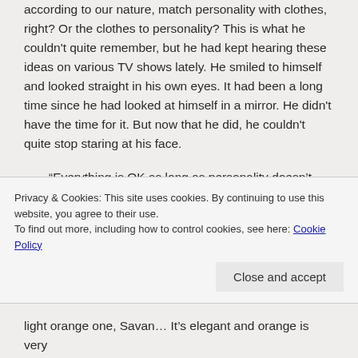according to our nature, match personality with clothes, right? Or the clothes to personality? This is what he couldn't quite remember, but he had kept hearing these ideas on various TV shows lately. He smiled to himself and looked straight in his own eyes. It had been a long time since he had looked at himself in a mirror. He didn't have the time for it. But now that he did, he couldn't quite stop staring at his face.
“Everything is OK as long as personality doesn’t become an accessory.”
He continued to look at himself in the mirror.  There
Privacy & Cookies: This site uses cookies. By continuing to use this website, you agree to their use.
To find out more, including how to control cookies, see here: Cookie Policy
light orange one, Savan… It’s elegant and orange is very